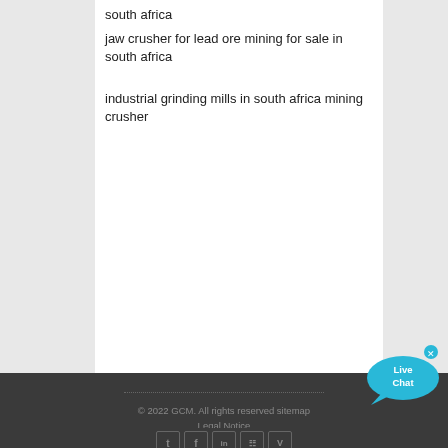south africa
jaw crusher for lead ore mining for sale in south africa
industrial grinding mills in south africa mining crusher
[Figure (illustration): Live Chat speech bubble widget in blue/cyan color with 'Live Chat' text and a close (x) button]
© 2022 GCM. All rights reserved sitemap
Legal Notice
Terms & Conditions
[Figure (infographic): Row of 5 social media icon buttons: Twitter, Facebook, LinkedIn, grid/menu icon, Vimeo]